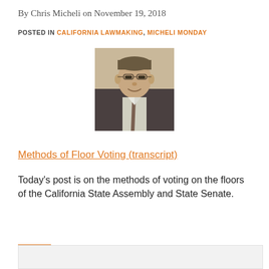By Chris Micheli on November 19, 2018
POSTED IN CALIFORNIA LAWMAKING, MICHELI MONDAY
[Figure (photo): Photo of Chris Micheli, a middle-aged man wearing glasses and a suit, smiling, centered on the page]
Methods of Floor Voting (transcript)
Today's post is on the methods of voting on the floors of the California State Assembly and State Senate.